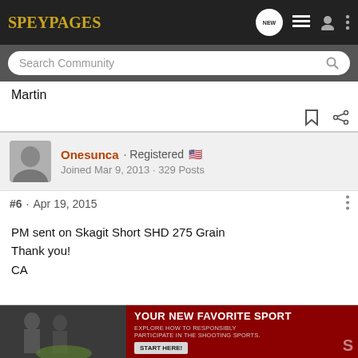SPEYPAGES
Search Community
Martin
Onesunca · Registered
Joined Mar 9, 2013 · 329 Posts
#6 · Apr 19, 2015
PM sent on Skagit Short SHD 275 Grain
Thank you!
CA
[Figure (screenshot): Advertisement banner: photo of people shooting sport on left, dark red background on right with text 'YOUR NEW FAVORITE SPORT', 'EXPLORE HOW TO RESPONSIBLY PARTICIPATE IN THE SHOOTING SPORTS.', and 'START HERE!' button]